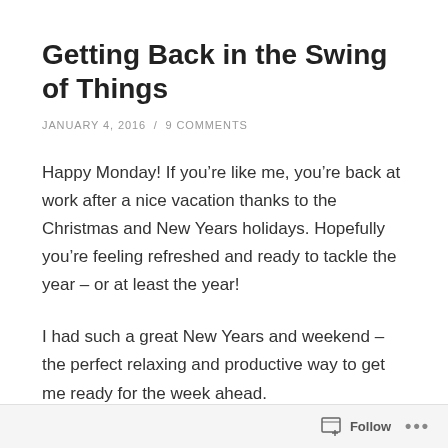Getting Back in the Swing of Things
JANUARY 4, 2016  /  9 COMMENTS
Happy Monday! If you’re like me, you’re back at work after a nice vacation thanks to the Christmas and New Years holidays. Hopefully you’re feeling refreshed and ready to tackle the year – or at least the year!
I had such a great New Years and weekend – the perfect relaxing and productive way to get me ready for the week ahead.
New Years Eve, B and I hung out with his family, family...